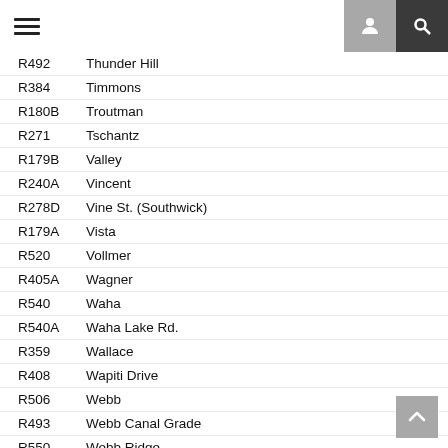Navigation header with hamburger menu, user icon, and search icon
R492    Thunder Hill
R384    Timmons
R180B   Troutman
R271    Tschantz
R179B   Valley
R240A   Vincent
R278D   Vine St. (Southwick)
R179A   Vista
R520    Vollmer
R405A   Wagner
R540    Waha
R540A   Waha Lake Rd.
R359    Wallace
R408    Wapiti Drive
R506    Webb
R493    Webb Canal Grade
R550    Webb Ridge